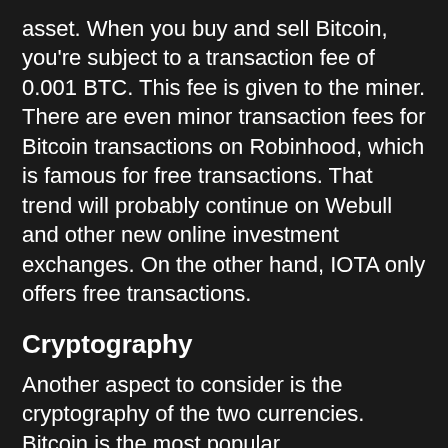asset. When you buy and sell Bitcoin, you're subject to a transaction fee of 0.001 BTC. This fee is given to the miner. There are even minor transaction fees for Bitcoin transactions on Robinhood, which is famous for free transactions. That trend will probably continue on Webull and other new online investment exchanges. On the other hand, IOTA only offers free transactions.
Cryptography
Another aspect to consider is the cryptography of the two currencies. Bitcoin is the most popular cryptocurrency and the first on the list when it comes to market capitalization. Hackers can gain a lot just by stealing a few BTCs. Thus, Bitcoin uses secure methods like a P2P network and private key cryptography to prevent theft.